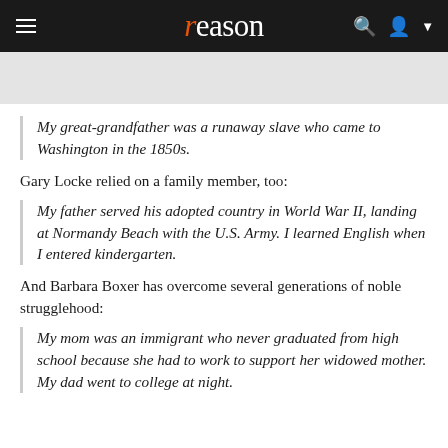reason
My great-grandfather was a runaway slave who came to Washington in the 1850s.
Gary Locke relied on a family member, too:
My father served his adopted country in World War II, landing at Normandy Beach with the U.S. Army. I learned English when I entered kindergarten.
And Barbara Boxer has overcome several generations of noble strugglehood:
My mom was an immigrant who never graduated from high school because she had to work to support her widowed mother. My dad went to college at night.